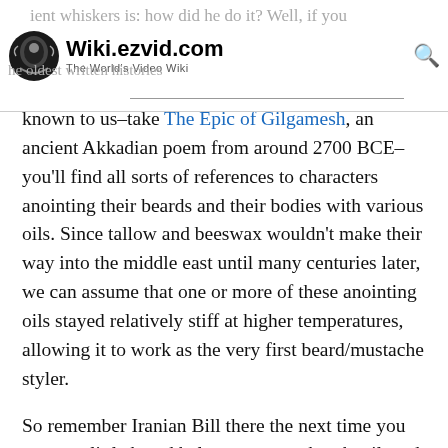Wiki.ezvid.com – The World's Video Wiki
known to us–take The Epic of Gilgamesh, an ancient Akkadian poem from around 2700 BCE–you'll find all sorts of references to characters anointing their beards and their bodies with various oils. Since tallow and beeswax wouldn't make their way into the middle east until many centuries later, we can assume that one or more of these anointing oils stayed relatively stiff at higher temperatures, allowing it to work as the very first beard/mustache styler.
So remember Iranian Bill there the next time you scrape a little beard balm onto your thumbnail, and realize that you're dipping your finger deep into human history.